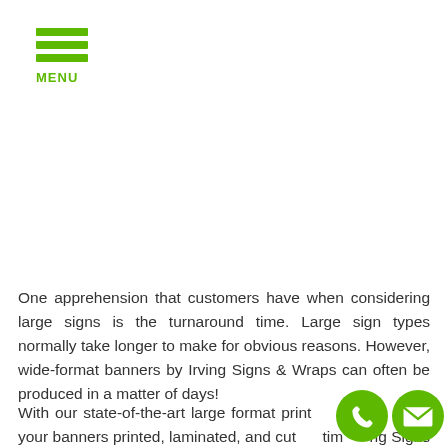MENU
One apprehension that customers have when considering large signs is the turnaround time. Large sign types normally take longer to make for obvious reasons. However, wide-format banners by Irving Signs & Wraps can often be produced in a matter of days!
With our state-of-the-art large format print we can get your banners printed, laminated, and cut tim ng Signs & Wraps...